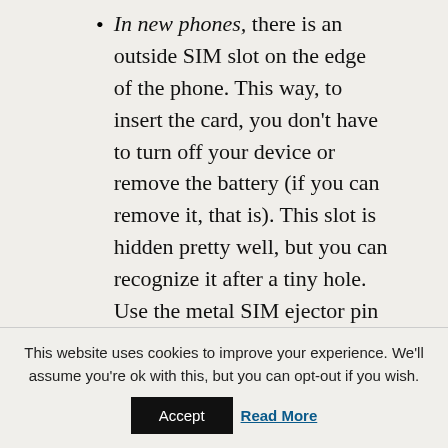In new phones, there is an outside SIM slot on the edge of the phone. This way, to insert the card, you don't have to turn off your device or remove the battery (if you can remove it, that is). This slot is hidden pretty well, but you can recognize it after a tiny hole. Use the metal SIM ejector pin in the phone's box to open it and insert the SIM there.
Warning: some new phones have SIM and microSD slots next to each other, make sure you don't confuse them.
This website uses cookies to improve your experience. We'll assume you're ok with this, but you can opt-out if you wish. Accept Read More